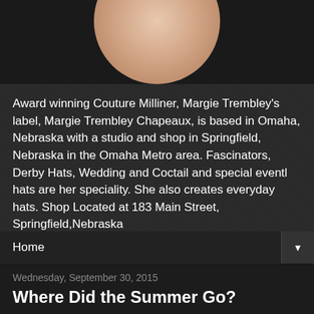[Figure (photo): Partial view of a person's head/profile photo in an oval crop against dark background]
Award winning Couture Milliner, Margie Trembley's label, Margie Trembley Chapeaux, is based in Omaha, Nebraska with a studio and shop in Springfield, Nebraska in the Omaha Metro area. Fascinators, Derby Hats, Wedding and Coctail and special eventl hats are her speciality. She also creates everyday hats. Shop Located at 183 Main Street, Springfield,Nebraska
Home
Wednesday, September 30, 2015
Where Did the Summer Go?
Wow, I find myself heading out to find the prettiest mums for the front of the store and I think I got lucky.  While wondering through Sam's Club on s Saturday (G was minding the store) I found the most gorgeous yellow mums to plant in our planters out front of the studio/gallery/boutique./hat shop. We also have some great willow that we retrieved from our